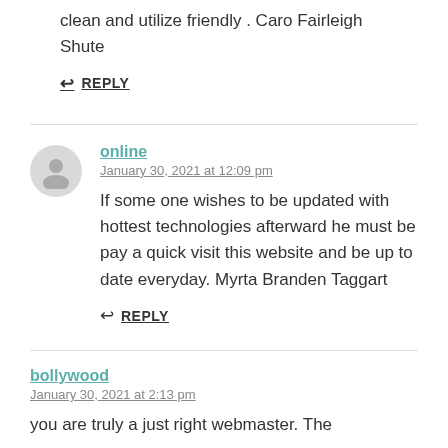clean and utilize friendly . Caro Fairleigh Shute
↩ REPLY
online
January 30, 2021 at 12:09 pm
If some one wishes to be updated with hottest technologies afterward he must be pay a quick visit this website and be up to date everyday. Myrta Branden Taggart
↩ REPLY
bollywood
January 30, 2021 at 2:13 pm
you are truly a just right webmaster. The